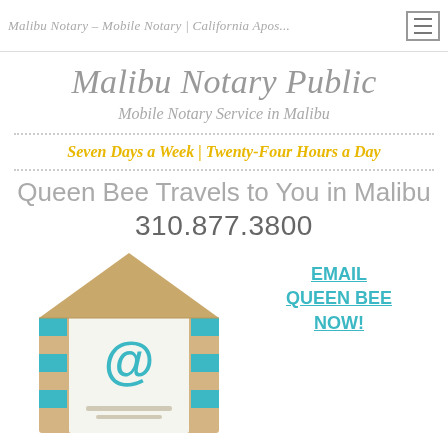Malibu Notary – Mobile Notary | California Apos...
Malibu Notary Public
Mobile Notary Service in Malibu
Seven Days a Week | Twenty-Four Hours a Day
Queen Bee Travels to You in Malibu
310.877.3800
[Figure (illustration): Open envelope with @ symbol inside, featuring teal/turquoise stripe pattern on envelope sides]
EMAIL QUEEN BEE NOW!